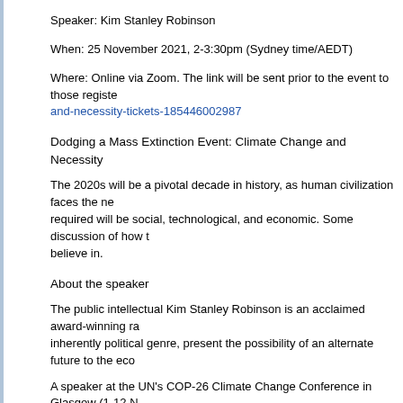Speaker: Kim Stanley Robinson
When: 25 November 2021, 2-3:30pm (Sydney time/AEDT)
Where: Online via Zoom. The link will be sent prior to the event to those registered at and-necessity-tickets-185446002987
Dodging a Mass Extinction Event: Climate Change and Necessity
The 2020s will be a pivotal decade in history, as human civilization faces the ne required will be social, technological, and economic. Some discussion of how t believe in.
About the speaker
The public intellectual Kim Stanley Robinson is an acclaimed award-winning ra inherently political genre, present the possibility of an alternate future to the eco
A speaker at the UN's COP-26 Climate Change Conference in Glasgow (1-12 N (https://3quarksdaily.com/3quarksdaily/2021/08/kim-stanley-robinson-a-ch (https://www.australianbookreview.com.au/abr-online/current-issue/883-fi Rethinking our Relationship with the Biosphere (https://www.youtube.com/wa
About the Wheelwright Lecture
The annual E.L. 'Ted' Wheelwright Memorial Lecture (https://www.ppesydney in Political Economy in Australia.